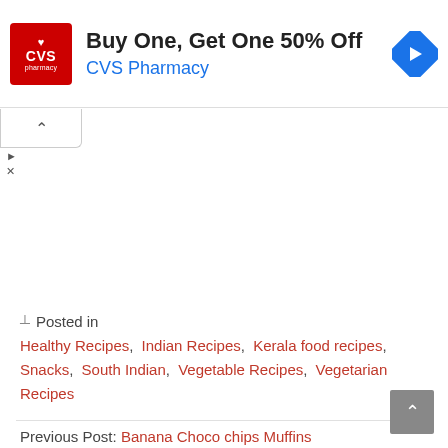[Figure (other): CVS Pharmacy advertisement banner: red CVS logo with heart icon on the left, bold text 'Buy One, Get One 50% Off' and blue 'CVS Pharmacy' subtitle in the center, blue diamond navigation arrow icon on the right.]
Posted in Healthy Recipes, Indian Recipes, Kerala food recipes, Snacks, South Indian, Vegetable Recipes, Vegetarian Recipes
Previous Post: Banana Choco chips Muffins